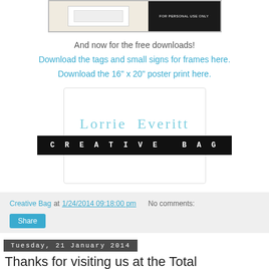[Figure (illustration): Partial view of a framed print/document on a tan/kraft background with a dark sidebar panel showing 'FOR PERSONAL USE ONLY' text]
And now for the free downloads!
Download the tags and small signs for frames here.
Download the 16" x 20" poster print here.
[Figure (logo): Lorrie Everitt Creative Bag logo: script text 'Lorrie Everitt' in light blue cursive above a black bar with 'CREATIVE BAG' in white monospace letters]
Creative Bag at 1/24/2014 09:18:00 pm    No comments:
Share
Tuesday, 21 January 2014
Thanks for visiting us at the Total